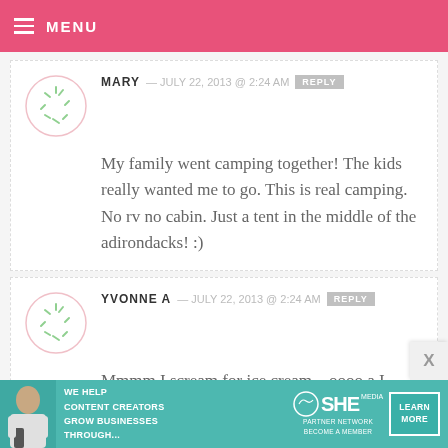MENU
MARY — JULY 22, 2013 @ 2:24 AM REPLY
My family went camping together! The kids really wanted me to go. This is real camping. No rv no cabin. Just a tent in the middle of the adirondacks! :)
YVONNE A — JULY 22, 2013 @ 2:24 AM REPLY
Mmmm I scream for ice cream... oooo a I cream maker!!!
[Figure (infographic): Ad banner: WE HELP CONTENT CREATORS GROW BUSINESSES THROUGH... SHE PARTNER NETWORK BECOME A MEMBER. Learn More button.]